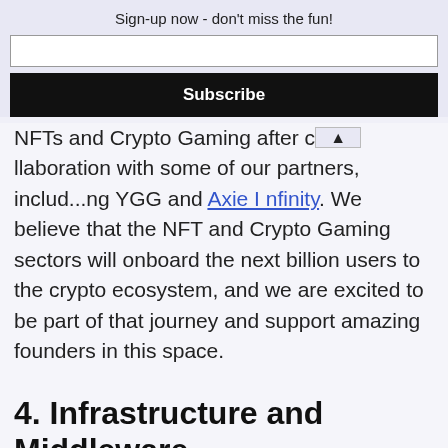Sign-up now - don't miss the fun!
NFTs and Crypto Gaming after collaboration with some of our partners, including YGG and Axie Infinity. We believe that the NFT and Crypto Gaming sectors will onboard the next billion users to the crypto ecosystem, and we are excited to be part of that journey and support amazing founders in this space.
4. Infrastructure and Middleware
Based on our own experience as a DAO, we realize